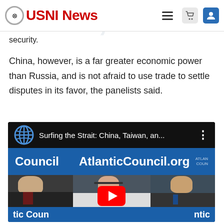USNI News
security.
China, however, is a far greater economic power than Russia, and is not afraid to use trade to settle disputes in its favor, the panelists said.
[Figure (screenshot): Embedded YouTube video thumbnail showing an Atlantic Council panel discussion titled 'Surfing the Strait: China, Taiwan, an...' with three panelists seated in front of an AtlanticCouncil.org banner.]